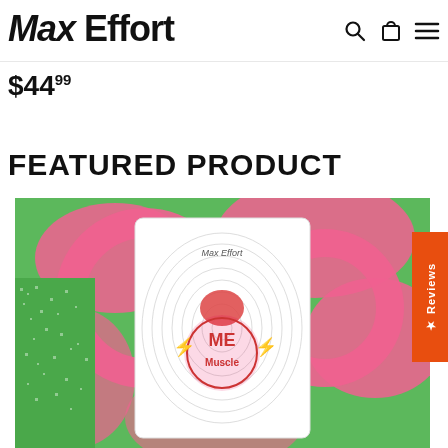Max Effort
$44.99
FEATURED PRODUCT
[Figure (photo): Max Effort Muscle product bag with green and pink swirl background design. The bag is white with circular concentric line pattern and features the Max Effort logo with a muscular figure graphic and 'ME Muscle' branding in the center.]